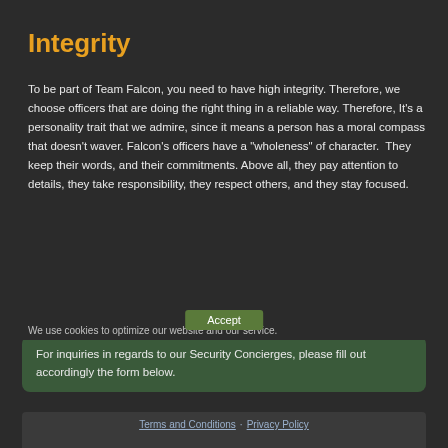Integrity
To be part of Team Falcon, you need to have high integrity. Therefore, we choose officers that are doing the right thing in a reliable way. Therefore, It's a personality trait that we admire, since it means a person has a moral compass that doesn't waver. Falcon's officers have a "wholeness" of character. They keep their words, and their commitments. Above all, they pay attention to details, they take responsibility, they respect others, and they stay focused.
We use cookies to optimize our website and our service.
Accept
For inquiries in regards to our Security Concierges, please fill out accordingly the form below.
Terms and Conditions · Privacy Policy